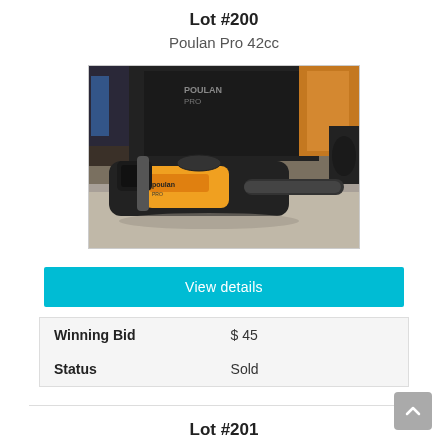Lot #200
Poulan Pro 42cc
[Figure (photo): Photo of a Poulan Pro 42cc chainsaw with orange and black body, placed in a carrying case, on a concrete surface with miscellaneous items in background.]
View details
| Winning Bid | $ 45 |
| Status | Sold |
Lot #201